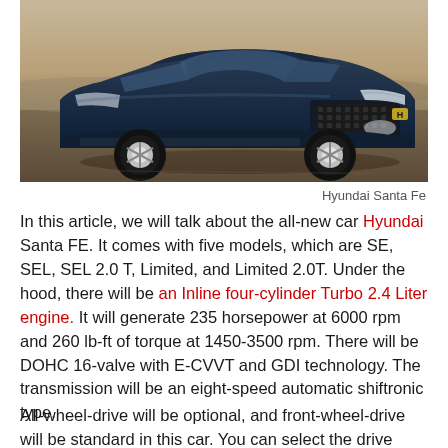[Figure (photo): Hyundai Santa Fe SUV photographed in a desert setting, front three-quarter view, dark blue color]
Hyundai Santa Fe
In this article, we will talk about the all-new car Hyundai Santa FE. It comes with five models, which are SE, SEL, SEL 2.0 T, Limited, and Limited 2.0T. Under the hood, there will be an Inline four-cylinder Turbo 2.4 Liter engine. It will generate 235 horsepower at 6000 rpm and 260 lb-ft of torque at 1450-3500 rpm. There will be DOHC 16-valve with E-CVVT and GDI technology. The transmission will be an eight-speed automatic shiftronic type.
All-wheel-drive will be optional, and front-wheel-drive will be standard in this car. You can select the drive mode